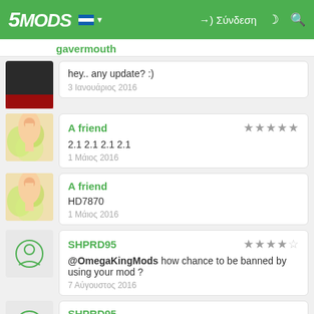5MODS | Σύνδεση
hey.. any update? :)
3 Ιανουάριος 2016
A friend
2.1 2.1 2.1 2.1
1 Μάιος 2016
A friend
HD7870
1 Μάιος 2016
SHPRD95
@OmegaKingMods how chance to be banned by using your mod ?
7 Αύγουστος 2016
SHPRD95